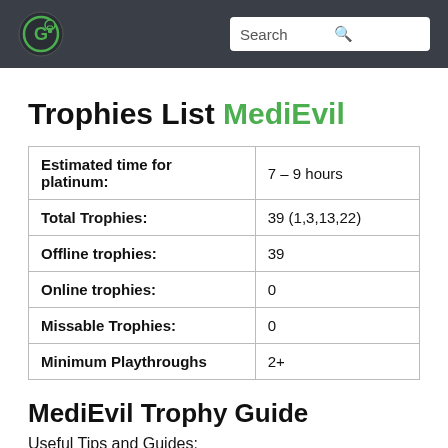[Logo] Search
Trophies List MediEvil
|  |  |
| --- | --- |
| Estimated time for platinum: | 7 – 9 hours |
| Total Trophies: | 39 (1,3,13,22) |
| Offline trophies: | 39 |
| Online trophies: | 0 |
| Missable Trophies: | 0 |
| Minimum Playthroughs | 2+ |
MediEvil Trophy Guide
Useful Tips and Guides: